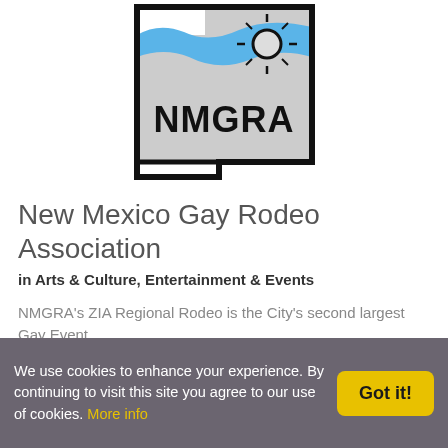[Figure (logo): NMGRA logo — outline of New Mexico state with blue wavy river at top, black border, and NMGRA text in bold black letters inside]
New Mexico Gay Rodeo Association
in Arts & Culture, Entertainment & Events
NMGRA's ZIA Regional Rodeo is the City's second largest Gay Event.
P.O. Box 35381
Albuquerque, New Mexico 87176
Is this your listing?
We use cookies to enhance your experience. By continuing to visit this site you agree to our use of cookies. More info